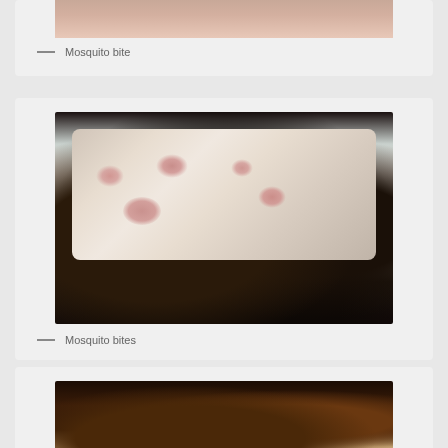[Figure (photo): Close-up photo of a mosquito bite on skin, partially visible at top of page]
— Mosquito bite
[Figure (photo): Photo of an arm with multiple mosquito bites showing red welts on skin]
— Mosquito bites
[Figure (photo): Dark photo partially visible at bottom of page showing skin condition]